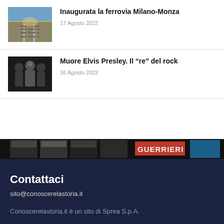[Figure (photo): Thumbnail photo of railway tracks extending toward horizon with bright sky]
Inaugurata la ferrovia Milano-Monza
17 Agosto 2022
[Figure (photo): Black and white thumbnail photo of Elvis Presley with other people]
Muore Elvis Presley. Il “re” del rock
16 Agosto 2022
[Figure (photo): Colorful banner strip showing book covers and the word GUERRIERI in red]
Contattaci
sito@conoscerelastoria.it
Conoscerelastoria.it è un sito di Sprea S.p.A.